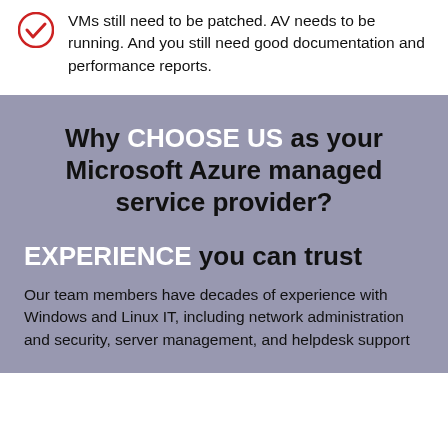VMs still need to be patched. AV needs to be running. And you still need good documentation and performance reports.
Why CHOOSE US as your Microsoft Azure managed service provider?
EXPERIENCE you can trust
Our team members have decades of experience with Windows and Linux IT, including network administration and security, server management, and helpdesk support